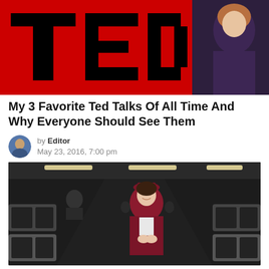[Figure (photo): TED talks banner image with red TED logo letters on black background and a woman in purple top on the right side]
My 3 Favorite Ted Talks Of All Time And Why Everyone Should See Them
by Editor
May 23, 2016, 7:00 pm
[Figure (photo): A flight attendant in a dark red/maroon uniform with matching hat stands in the aisle of an airplane cabin with rows of economy class seats visible]